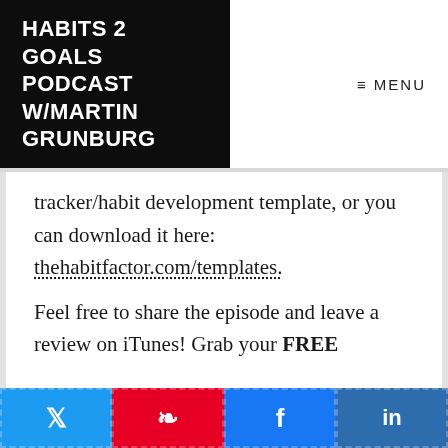HABITS 2 GOALS PODCAST W/MARTIN GRUNBURG
≡ MENU
tracker/habit development template, or you can download it here: thehabitfactor.com/templates.
Feel free to share the episode and leave a review on iTunes! Grab your FREE...